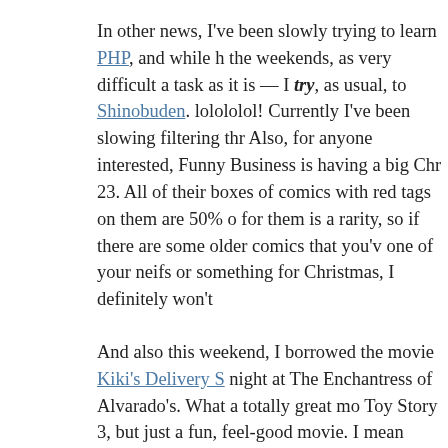In other news, I've been slowly trying to learn PHP, and while h the weekends, as very difficult a task as it is — I try, as usual, to Shinobuden. lolololol! Currently I've been slowing filtering thr Also, for anyone interested, Funny Business is having a big Chr 23. All of their boxes of comics with red tags on them are 50% o for them is a rarity, so if there are some older comics that you'v one of your neifs or something for Christmas, I definitely won't
And also this weekend, I borrowed the movie Kiki's Delivery S night at The Enchantress of Alvarado's. What a totally great mo Toy Story 3, but just a fun, feel-good movie. I mean reviewers w this really was. It was about believing in yourself (and others) a fullest passion.
Tearin' it up on the weekend – in Pomona.
This entry was posted in holiday fun. Bookmark the permalink.
We Finished the New Testament...